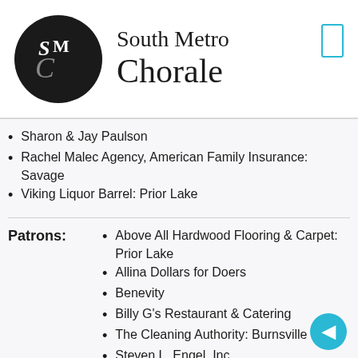[Figure (logo): South Metro Chorale logo: black circle with SM and C monogram in white/grey, next to the text 'South Metro Chorale' in serif font]
Sharon & Jay Paulson
Rachel Malec Agency, American Family Insurance: Savage
Viking Liquor Barrel: Prior Lake
Patrons:
Above All Hardwood Flooring & Carpet: Prior Lake
Allina Dollars for Doers
Benevity
Billy G's Restaurant & Catering
The Cleaning Authority: Burnsville
Steven L. Engel, Inc.
Sharon Grocott
Bill & Pat Gurnon